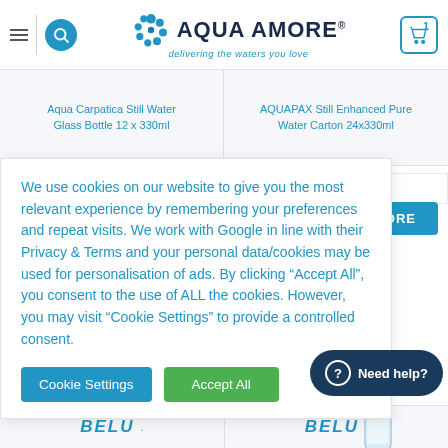Aqua Amore — delivering the waters you love
Aqua Carpatica Still Water Glass Bottle 12 x 330ml
AQUAPAX Still Enhanced Pure Water Carton 24x330ml
VAT (£14.88 Ex. VAT)
AD MORE
We use cookies on our website to give you the most relevant experience by remembering your preferences and repeat visits. We work with Google in line with their Privacy & Terms and your personal data/cookies may be used for personalisation of ads. By clicking "Accept All", you consent to the use of ALL the cookies. However, you may visit "Cookie Settings" to provide a controlled consent.
Cookie Settings
Accept All
Need help?
BELU
BELU